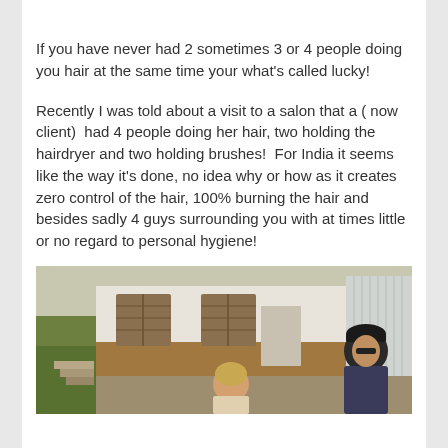If you have never had 2 sometimes 3 or 4 people doing you hair at the same time your what's called lucky!
Recently I was told about a visit to a salon that a ( now client)  had 4 people doing her hair, two holding the hairdryer and two holding brushes!  For India it seems like the way it's done, no idea why or how as it creates zero control of the hair, 100% burning the hair and besides sadly 4 guys surrounding you with at times little or no regard to personal hygiene!
[Figure (photo): Outdoor photo showing two people near a building with shuttered windows. A man wearing a dark cap is visible on the right side, and a woman with lighter hair is in the foreground-center.]